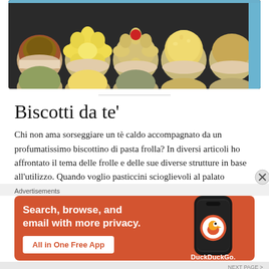[Figure (photo): A box of assorted Italian tea cookies (biscotti da tè) in paper cups, including flower-shaped, round, and piped shortbread varieties with decorations such as red cherries, yellow flowers, and chocolate.]
Biscotti da te'
Chi non ama sorseggiare un tè caldo accompagnato da un profumatissimo biscottino di pasta frolla? In diversi articoli ho affrontato il tema delle frolle e delle sue diverse strutture in base all'utilizzo. Quando voglio pasticcini scioglievoli al palato
Advertisements
[Figure (screenshot): DuckDuckGo advertisement banner on orange background: 'Search, browse, and email with more privacy. All in One Free App' with a phone showing the DuckDuckGo logo.]